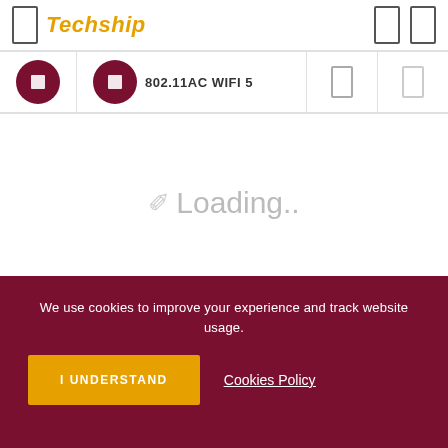Techship
802.11AC WIFI 5
Loading..
Please wait while we load the products.
We use cookies to improve your experience and track website usage.
I UNDERSTAND
Cookies Policy